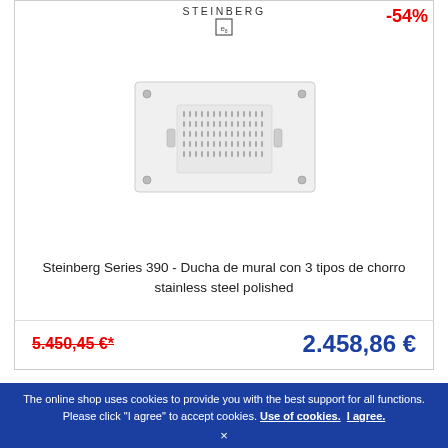STEINBERG
[Figure (photo): Steinberg Series 390 ceiling/wall shower panel, rectangular, stainless steel polished, shown from front]
-54%
Steinberg Series 390 - Ducha de mural con 3 tipos de chorro stainless steel polished
5.450,45 €*
2.458,86 €
The online shop uses cookies to provide you with the best support for all functions. Please click "I agree" to accept cookies. Use of cookies. I agree. ×